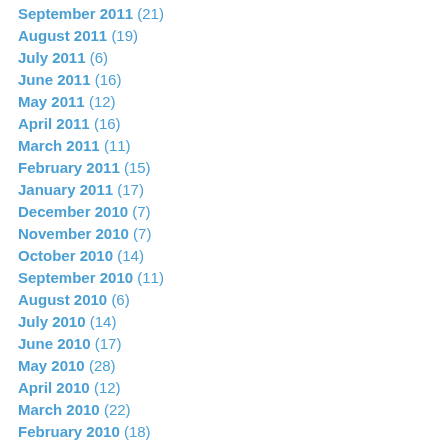September 2011 (21)
August 2011 (19)
July 2011 (6)
June 2011 (16)
May 2011 (12)
April 2011 (16)
March 2011 (11)
February 2011 (15)
January 2011 (17)
December 2010 (7)
November 2010 (7)
October 2010 (14)
September 2010 (11)
August 2010 (6)
July 2010 (14)
June 2010 (17)
May 2010 (28)
April 2010 (12)
March 2010 (22)
February 2010 (18)